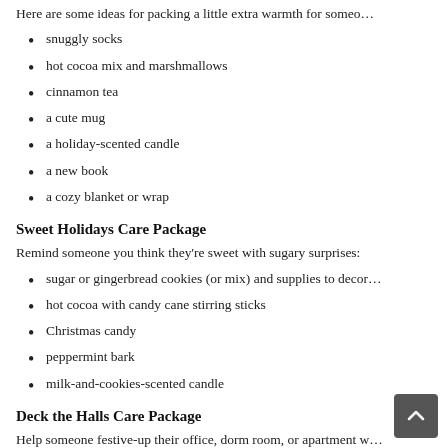Here are some ideas for packing a little extra warmth for someo…
snuggly socks
hot cocoa mix and marshmallows
cinnamon tea
a cute mug
a holiday-scented candle
a new book
a cozy blanket or wrap
Sweet Holidays Care Package
Remind someone you think they're sweet with sugary surprises:
sugar or gingerbread cookies (or mix) and supplies to decor…
hot cocoa with candy cane stirring sticks
Christmas candy
peppermint bark
milk-and-cookies-scented candle
Deck the Halls Care Package
Help someone festive-up their office, dorm room, or apartment w…